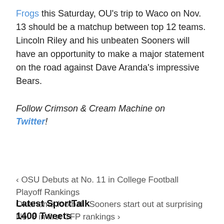Frogs this Saturday, OU's trip to Waco on Nov. 13 should be a matchup between top 12 teams. Lincoln Riley and his unbeaten Sooners will have an opportunity to make a major statement on the road against Dave Aranda's impressive Bears.
Follow Crimson & Cream Machine on Twitter!
‹ OSU Debuts at No. 11 in College Football Playoff Rankings
Oklahoma football: Sooners start out at surprising No. 8 in first CFP rankings ›
Latest SportTalk
1400 Tweets